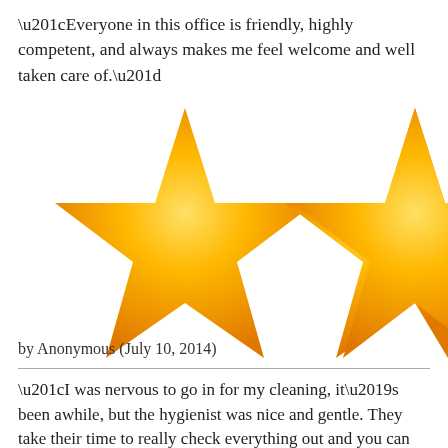“Everyone in this office is friendly, highly competent, and always makes me feel welcome and well taken care of.”
[Figure (illustration): Two large golden/orange gradient five-pointed stars partially visible, side by side, cropped at the right edge. Stars have a warm golden-yellow gradient from center to orange at edges.]
by Anonymous (July 10, 2014)
“I was nervous to go in for my cleaning, it’s been awhile, but the hygienist was nice and gentle. They take their time to really check everything out and you can tell they know what they’re doing.”
[Figure (illustration): Two large golden/orange gradient five-pointed stars partially visible at the bottom of the page, cropped.]